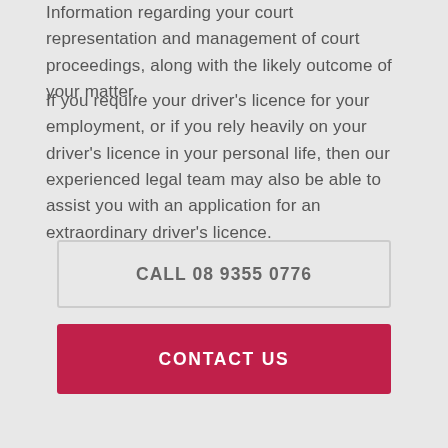Information regarding your court representation and management of court proceedings, along with the likely outcome of your matter.
If you require your driver’s licence for your employment, or if you rely heavily on your driver’s licence in your personal life, then our experienced legal team may also be able to assist you with an application for an extraordinary driver’s licence.
CALL 08 9355 0776
CONTACT US